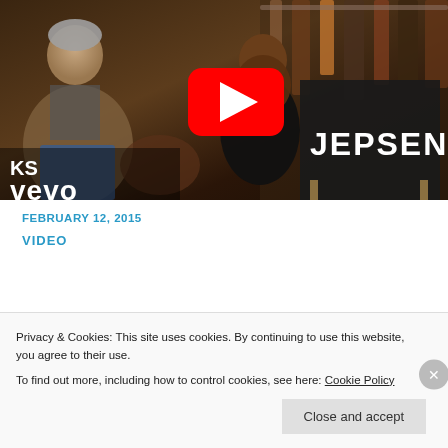[Figure (screenshot): YouTube video thumbnail showing a behind-the-scenes scene with people seated, a JEPSEN director's chair visible, and the Vevo/KS logo in the bottom left. A red YouTube play button is overlaid in the center.]
FEBRUARY 12, 2015
VIDEO
Privacy & Cookies: This site uses cookies. By continuing to use this website, you agree to their use.
To find out more, including how to control cookies, see here: Cookie Policy
Close and accept